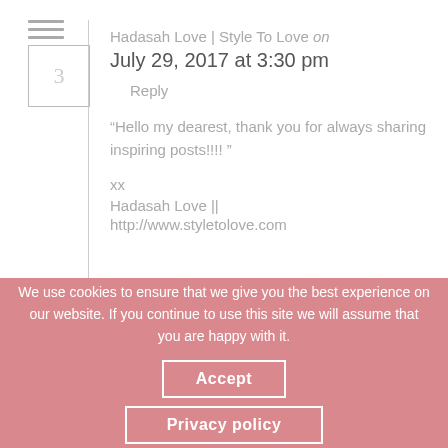Hadasah Love | Style To Love ON
July 29, 2017 at 3:30 pm
Reply
“Hello my dearest, thank you for always sharing inspiring posts!!!! ”
xx
Hadasah Love ||
http://www.styletolove.com
We use cookies to ensure that we give you the best experience on our website. If you continue to use this site we will assume that you are happy with it.
Accept
Privacy policy